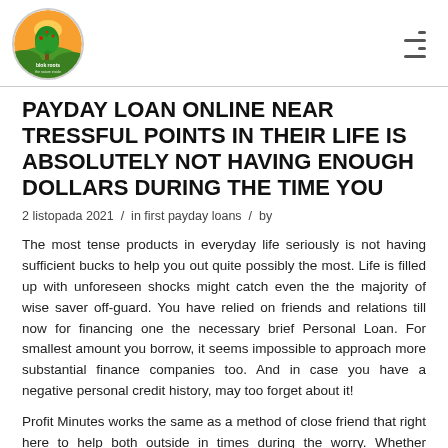Blok roots (logo)
PAYDAY LOAN ONLINE NEAR TRESSFUL POINTS IN THEIR LIFE IS ABSOLUTELY NOT HAVING ENOUGH DOLLARS DURING THE TIME YOU
2 listopada 2021  /  in first payday loans  /  by
The most tense products in everyday life seriously is not having sufficient bucks to help you out quite possibly the most. Life is filled up with unforeseen shocks might catch even the the majority of wise saver off-guard. You have relied on friends and relations till now for financing one the necessary brief Personal Loan. For smallest amount you borrow, it seems impossible to approach more substantial finance companies too. And in case you have a negative personal credit history, may too forget about it!
Profit Minutes works the same as a method of close friend that right here to help both outside in times during the worry. Whether needed immediate cash financing of INR 1000 to INR 2,00,000